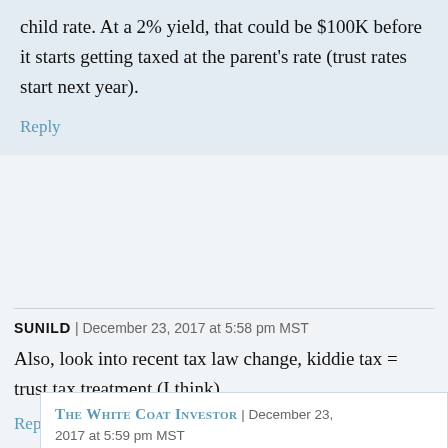child rate. At a 2% yield, that could be $100K before it starts getting taxed at the parent's rate (trust rates start next year).
Reply
SUNILD | December 23, 2017 at 5:58 pm MST
Also, look into recent tax law change, kiddie tax = trust tax treatment (I think)
Reply
The White Coat Investor | December 23, 2017 at 5:59 pm MST